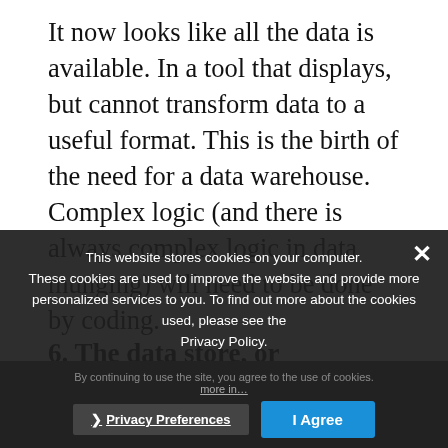It now looks like all the data is available. In a tool that displays, but cannot transform data to a useful format. This is the birth of the need for a data warehouse. Complex logic (and there is always complex logic in data munging) will need to be done by coding.
Now we can see our data, but we cannot leverage it for the reporting we need.
6. The data store, or unstructured data warehouse
via a tool, the need         abase that can
This website stores cookies on your computer. These cookies are used to improve the website and provide more personalized services to you. To find out more about the cookies used, please see the Privacy Policy.
By continuing to use the site, you agree to the use of cookies. more in… › Privacy Preferences | I Agree